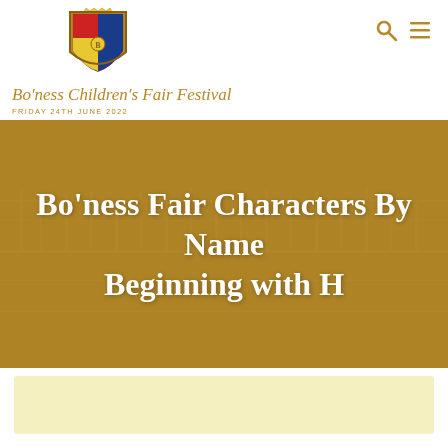[Figure (logo): Bo'ness Children's Fair Festival heraldic crest/coat of arms in red, blue, yellow and gold]
Bo'ness Children's Fair Festival
FRIDAY 24TH JUNE 2022
[Figure (illustration): Search icon (magnifying glass) and hamburger menu icon in gold/brown color]
[Figure (photo): Faded golden-sepia photo of a large crowd at the Bo'ness Fair festival, used as hero banner background]
Bo'ness Fair Characters By Name Beginning with H
[Figure (other): Light yellow rectangular advertisement or content placeholder box]